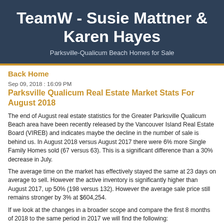TeamW - Susie Mattner & Karen Hayes
Parksville-Qualicum Beach Homes for Sale
Back Home
Sep 09, 2018 : 16:09 PM
Parksville Qualicum Real Estate Market Stats For August 2018
The end of August real estate statistics for the Greater Parksville Qualicum Beach area have been recently released by the Vancouver Island Real Estate Board (VIREB) and indicates maybe the decline in the number of sale is behind us. In August 2018 versus August 2017 there were 6% more Single Family Homes sold (67 versus 63). This is a significant difference than a 30% decrease in July.
The average time on the market has effectively stayed the same at 23 days on average to sell. However the active inventory is significantly higher than August 2017, up 50% (198 versus 132). However the average sale price still remains stronger by 3% at $604,254.
If we look at the changes in a broader scope and compare the first 8 months of 2018 to the same period in 2017 we will find the following:
• 21% decrease in Number of sales, 464 vs 589
• 16% increase in Average sale price, $618,924 vs $532,386